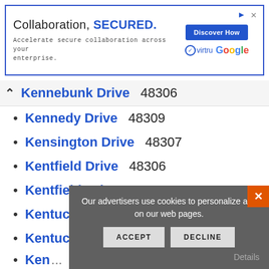[Figure (screenshot): Advertisement banner: 'Collaboration, SECURED.' with Virtru and Google logos and a 'Discover How' button]
Kennebunk Drive  48306
Kennedy Drive  48309
Kensington Drive  48307
Kentfield Drive  48306
Kentfield Drive  48307
Kentucky  48307
Kentucky Drive  48307
Kens... [partially obscured]
Keswick Court  48306
Keys... Drive  [partially obscured]
Kilburn Court  48306
Our advertisers use cookies to personalize ads on our web pages.